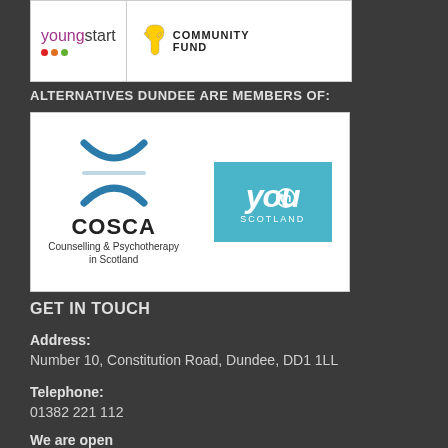[Figure (logo): Young Start and National Lottery Community Fund logos on white background]
ALTERNATIVES DUNDEE ARE MEMBERS OF:
[Figure (logo): COSCA Counselling & Psychotherapy in Scotland logo and Youth Scotland logo on white background]
GET IN TOUCH
Address:
Number 10, Constitution Road, Dundee, DD1 1LL
Telephone:
01382 221 112
We are open